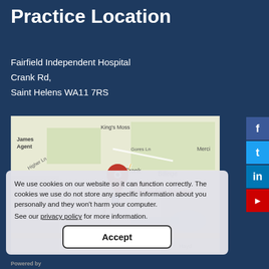Practice Location
Fairfield Independent Hospital
Crank Rd,
Saint Helens WA11 7RS
[Figure (map): Google Maps showing location of Fairfield Independent Hospital on Crank Rd, Saint Helens WA11 7RS, with a red pin marker and label 'Fairfield Independent Hospital'. Map shows surrounding area including King's Moss, Billinge, Gores Ln, A580 road.]
We use cookies on our website so it can function correctly. The cookies we use do not store any specific information about you personally and they won't harm your computer.
See our privacy policy for more information.